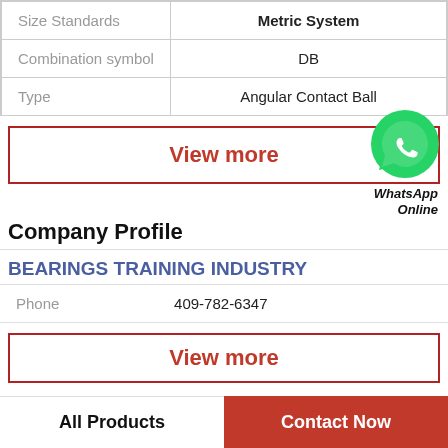|  |  |
| --- | --- |
| Size Standards | Metric System |
| Combination symbol | DB |
| Type | Angular Contact Ball |
View more
Company Profile
[Figure (logo): WhatsApp green phone icon with label 'WhatsApp Online']
BEARINGS TRAINING INDUSTRY
Phone   409-782-6347
View more
All Products
Contact Now